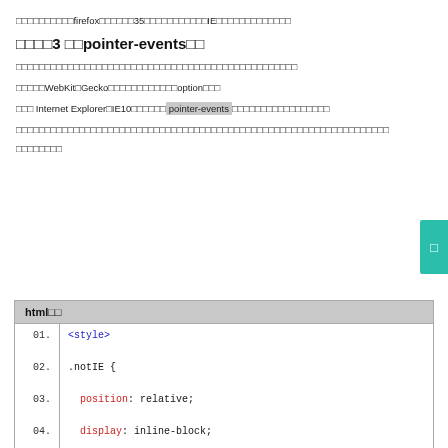□□□□□□□□□□firefox□□□□□□35□□□□□□□□□□□IE□□□□□□□□□□□□□
□□□□3 □□pointer-events□□
□□□□□□□□□□□□□□□□□□□□□□□□□□□□□□□□□□□□□□□□□□□□□□□□□
□□□□□WebKit□Gecko□□□□□□□□□□□□option□□□
□□□ Internet Explorer□IE10□□□□□□pointer-events□□□□□□□□□□□□□□□□□
□□□□□□□□□□□□□□□□□□□□□□□□□□□□□□□□□□□□□□□□□□□□□□□□□□□□□□□□□□□□□□□□□
□□□□□□□□
| html□□ |  |
| --- | --- |
| 01. | <style> |
| 02. | .notIE { |
| 03. |   position: relative; |
| 04. |   display: inline-block; |
| 05. | } |
| 06. | select { |